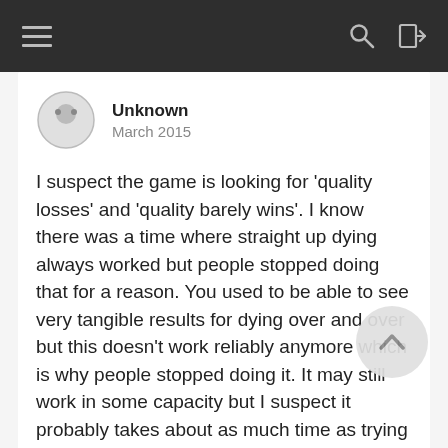Unknown
March 2015
I suspect the game is looking for 'quality losses' and 'quality barely wins'. I know there was a time where straight up dying always worked but people stopped doing that for a reason. You used to be able to see very tangible results for dying over and over but this doesn't work reliably anymore which is why people stopped doing it. It may still work in some capacity but I suspect it probably takes about as much time as trying to beat the nodes themselves. Even when tanking worked straight up, it always felt to me that the game valued a close game with lower level characters more than a higher one. That is, if you bring out Ares, do 3 Sunders in a row and barely have